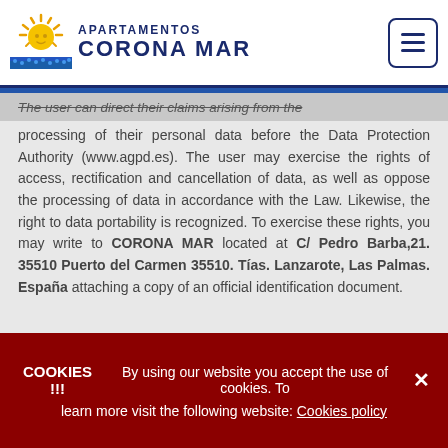[Figure (logo): Apartamentos Corona Mar logo with sun and sea imagery]
The user can direct their claims arising from the processing of their personal data before the Data Protection Authority (www.agpd.es). The user may exercise the rights of access, rectification and cancellation of data, as well as oppose the processing of data in accordance with the Law. Likewise, the right to data portability is recognized. To exercise these rights, you may write to CORONA MAR located at C/ Pedro Barba,21. 35510 Puerto del Carmen 35510. Tías. Lanzarote, Las Palmas. España attaching a copy of an official identification document.
COOKIES !!! By using our website you accept the use of cookies. To learn more visit the following website: Cookies policy